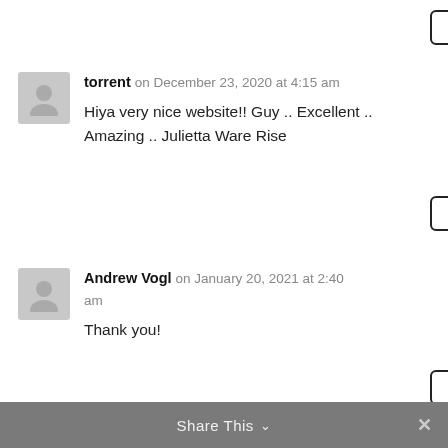REPLY
torrent on December 23, 2020 at 4:15 am
Hiya very nice website!! Guy .. Excellent .. Amazing .. Julietta Ware Rise
REPLY
Andrew Vogl on January 20, 2021 at 2:40 am
Thank you!
REPLY
Share This ∨  ✕